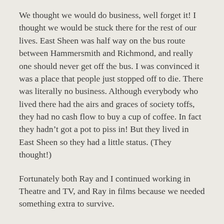We thought we would do business, well forget it! I thought we would be stuck there for the rest of our lives. East Sheen was half way on the bus route between Hammersmith and Richmond, and really one should never get off the bus. I was convinced it was a place that people just stopped off to die. There was literally no business. Although everybody who lived there had the airs and graces of society toffs, they had no cash flow to buy a cup of coffee. In fact they hadn't got a pot to piss in! But they lived in East Sheen so they had a little status. (They thought!)
Fortunately both Ray and I continued working in Theatre and TV, and Ray in films because we needed something extra to survive.
We were 'so busy' at the Regency that one person could run the whole place – serve coffee, do the cooking, the lot. So Ray and I worked alternate days. When I was on